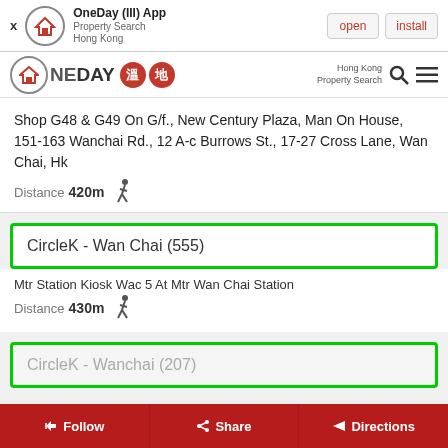[Figure (screenshot): OneDay app install banner with X close button, app icon, name 'OneDay (III) App', subtitle 'Property Search Hong Kong', and open/install buttons]
[Figure (logo): OneDay property search Hong Kong logo with circular house icon, red badge characters, search icon, and hamburger menu]
Shop G48 & G49 On G/f., New Century Plaza, Man On House, 151-163 Wanchai Rd., 12 A-c Burrows St., 17-27 Cross Lane, Wan Chai, Hk
Distance 420m
CircleK - Wan Chai (555)
Mtr Station Kiosk Wac 5 At Mtr Wan Chai Station
Distance 430m
CircleK - Wanchai (207)
Follow
Share
Directions